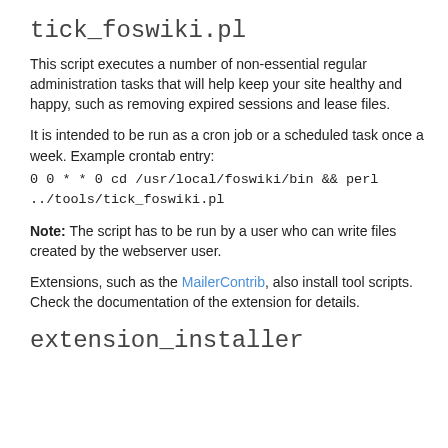it if your perl is in a non-standard location, or you want to use a different interpreter (such as 'speedy').
tick_foswiki.pl
This script executes a number of non-essential regular administration tasks that will help keep your site healthy and happy, such as removing expired sessions and lease files.
It is intended to be run as a cron job or a scheduled task once a week. Example crontab entry:
Note: The script has to be run by a user who can write files created by the webserver user.
Extensions, such as the MailerContrib, also install tool scripts. Check the documentation of the extension for details.
extension_installer